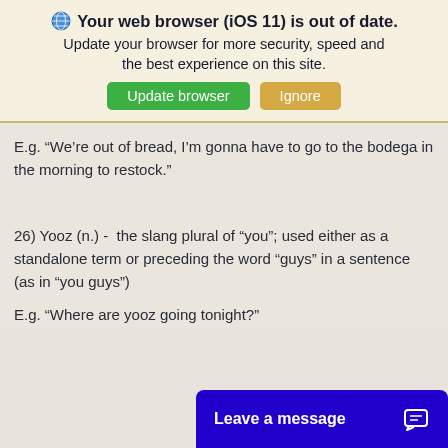Your web browser (iOS 11) is out of date.
Update your browser for more security, speed and the best experience on this site.
E.g. “We’re out of bread, I’m gonna have to go to the bodega in the morning to restock.”
26) Yooz (n.) - the slang plural of “you”; used either as a standalone term or preceding the word “guys” in a sentence (as in “you guys”)
E.g. “Where are yooz going tonight?”
Leave a message